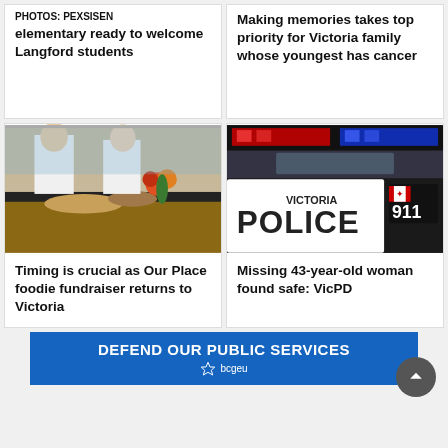PHOTOS: PEXSISEN elementary ready to welcome Langford students
Making memories takes top priority for Victoria family whose youngest has cancer
[Figure (photo): Two chefs in white uniforms leaning over a food display table with flowers and food items]
Timing is crucial as Our Place foodie fundraiser returns to Victoria
[Figure (photo): Victoria Police car with flashing lights, showing POLICE lettering on side with 911 and Canadian flag]
Missing 43-year-old woman found safe: VicPD
[Figure (infographic): Blue banner advertisement reading DEFEND OUR PUBLIC SERVICES with bcgeu logo]